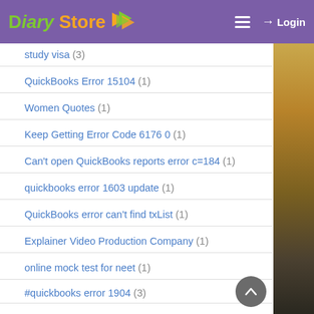Diary Store — Login
study visa (3)
QuickBooks Error 15104 (1)
Women Quotes (1)
Keep Getting Error Code 6176 0 (1)
Can't open QuickBooks reports error c=184 (1)
quickbooks error 1603 update (1)
QuickBooks error can't find txList (1)
Explainer Video Production Company (1)
online mock test for neet (1)
#quickbooks error 1904 (3)
Download AOL Desktop Gold (1)
Error 404 when opening Sync (1)